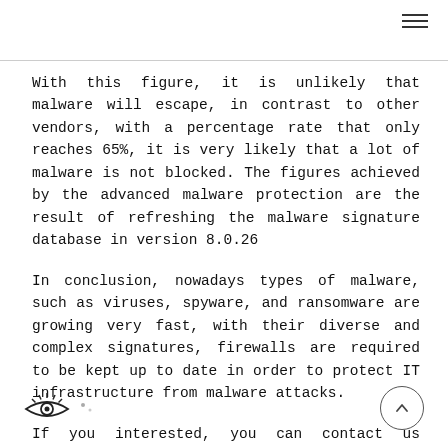With this figure, it is unlikely that malware will escape, in contrast to other vendors, with a percentage rate that only reaches 65%, it is very likely that a lot of malware is not blocked. The figures achieved by the advanced malware protection are the result of refreshing the malware signature database in version 8.0.26
In conclusion, nowadays types of malware, such as viruses, spyware, and ransomware are growing very fast, with their diverse and complex signatures, firewalls are required to be kept up to date in order to protect IT infrastructure from malware attacks.
If you interested, you can contact us directly here.
[Figure (logo): Eye icon logo with decorative dots]